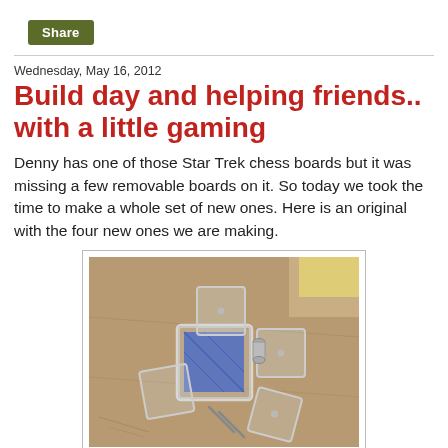Share
Wednesday, May 16, 2012
Build day and helping friends.. with a little gaming
Denny has one of those Star Trek chess boards but it was missing a few removable boards on it. So today we took the time to make a whole set of new ones. Here is an original with the four new ones we are making.
[Figure (photo): Photo of clear acrylic chess board pieces arranged on a wooden surface, with blue tape or material and silver screws/bolts visible.]
Once the new pieces were made we could not resist playing